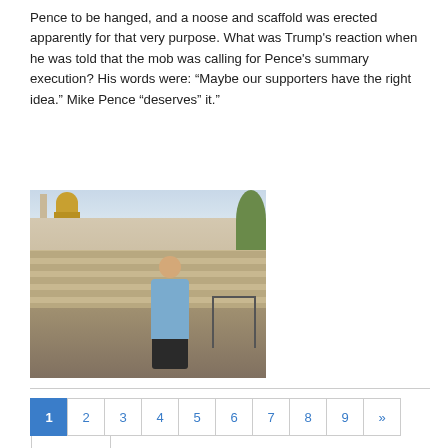Pence to be hanged, and a noose and scaffold was erected apparently for that very purpose. What was Trump's reaction when he was told that the mob was calling for Pence's summary execution? His words were: “Maybe our supporters have the right idea.” Mike Pence “deserves” it.”
[Figure (photo): A man in a light blue shirt standing in front of the Western Wall and Dome of the Rock in Jerusalem]